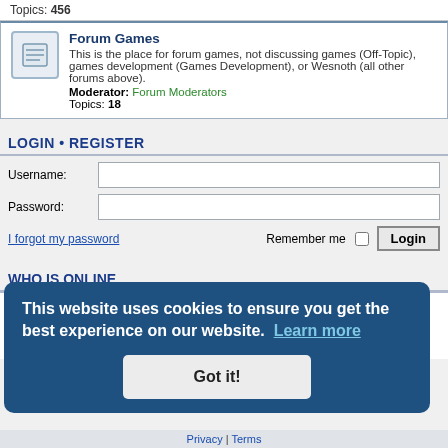Topics: 456
Forum Games
This is the place for forum games, not discussing games (Off-Topic), games development (Games Development), or Wesnoth (all other forums above).
Moderator: Forum Moderators
Topics: 18
LOGIN • REGISTER
Username:
Password:
I forgot my password
Remember me  Login
WHO IS ONLINE
In total there are 57 users online :: 0 registered, 4 bots, 0 hidden and 53 guests (based on users active over the past 5 minutes)
Most users ever online was 1925 on June 2nd, 2021, 5:02 pm
This website uses cookies to ensure you get the best experience on our website.  Learn more
Got it!
Privacy | Terms